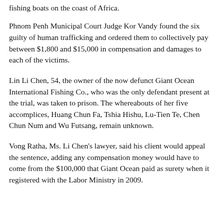fishing boats on the coast of Africa.
Phnom Penh Municipal Court Judge Kor Vandy found the six guilty of human trafficking and ordered them to collectively pay between $1,800 and $15,000 in compensation and damages to each of the victims.
Lin Li Chen, 54, the owner of the now defunct Giant Ocean International Fishing Co., who was the only defendant present at the trial, was taken to prison. The whereabouts of her five accomplices, Huang Chun Fa, Tshia Hishu, Lu-Tien Te, Chen Chun Num and Wu Futsang, remain unknown.
Vong Ratha, Ms. Li Chen's lawyer, said his client would appeal the sentence, adding any compensation money would have to come from the $100,000 that Giant Ocean paid as surety when it registered with the Labor Ministry in 2009.